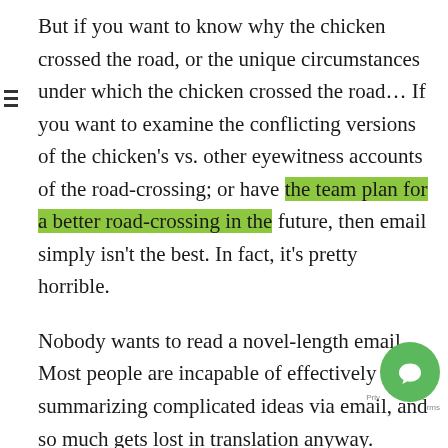But if you want to know why the chicken crossed the road, or the unique circumstances under which the chicken crossed the road… If you want to examine the conflicting versions of the chicken's vs. other eyewitness accounts of the road-crossing; or have the team plan for a better road-crossing in the future, then email simply isn't the best. In fact, it's pretty horrible.
Nobody wants to read a novel-length email. Most people are incapable of effectively summarizing complicated ideas via email, and so much gets lost in translation anyway.
This leads to our second rule of email effectiveness: Use email for the what, but leave the details and